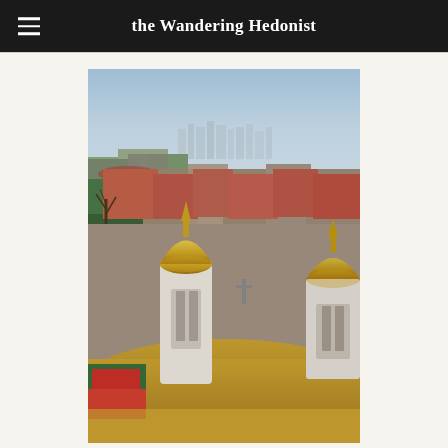the Wandering Hedonist
[Figure (photo): Aerial view of a city (likely Belgrade or Sofia) showing golden-domed church towers in the foreground with tiled rooftops and city skyline in the background under a pale blue sky.]